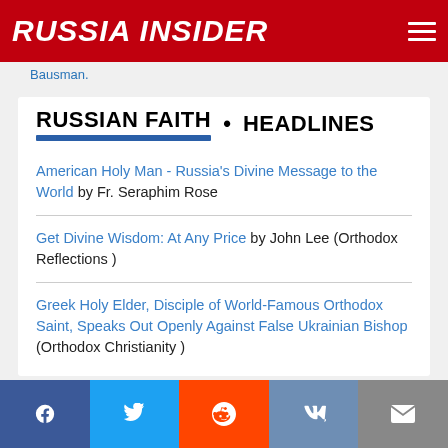RUSSIA INSIDER
Bausman.
RUSSIAN FAITH • HEADLINES
American Holy Man - Russia's Divine Message to the World by Fr. Seraphim Rose
Get Divine Wisdom: At Any Price by John Lee (Orthodox Reflections )
Greek Holy Elder, Disciple of World-Famous Orthodox Saint, Speaks Out Openly Against False Ukrainian Bishop (Orthodox Christianity )
Social share buttons: Facebook, Twitter, Reddit, VK, Email